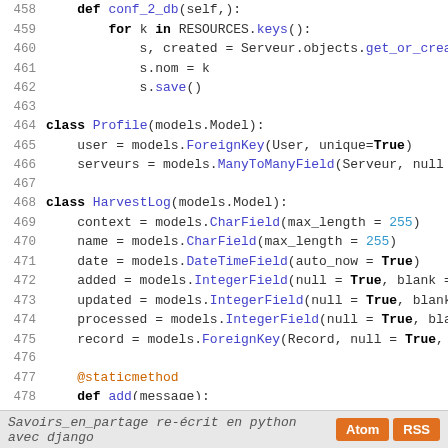Python/Django source code listing lines 458-486 with class definitions for Profile and HarvestLog models
Savoirs_en_partage re-écrit en python avec django   Atom  RSS